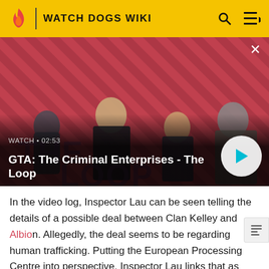WATCH DOGS WIKI
[Figure (screenshot): Video thumbnail showing four characters against a red diagonal striped background with 'THE LOOP' text. Shows WATCH • 02:53 label and title 'GTA: The Criminal Enterprises - The Loop' with a play button.]
In the video log, Inspector Lau can be seen telling the details of a possible deal between Clan Kelley and Albion. Allegedly, the deal seems to be regarding human trafficking. Putting the European Processing Centre into perspective, Inspector Lau links that as Albion could fresh, press charges off the street and sell them illegally